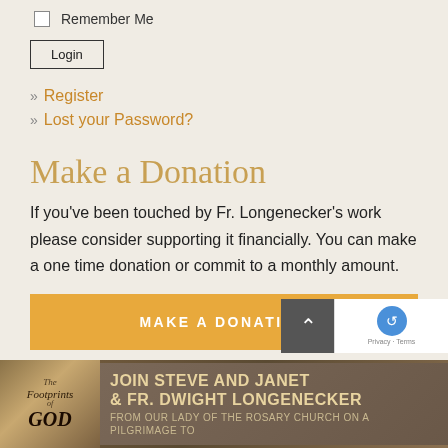Remember Me
Login
» Register
» Lost your Password?
Make a Donation
If you've been touched by Fr. Longenecker's work please consider supporting it financially. You can make a one time donation or commit to a monthly amount.
MAKE A DONATION
[Figure (illustration): Banner for 'The Footprints of God' pilgrimage: Join Steve and Janet & Fr. Dwight Longenecker, From Our Lady of the Rosary Church on a Pilgrimage to]